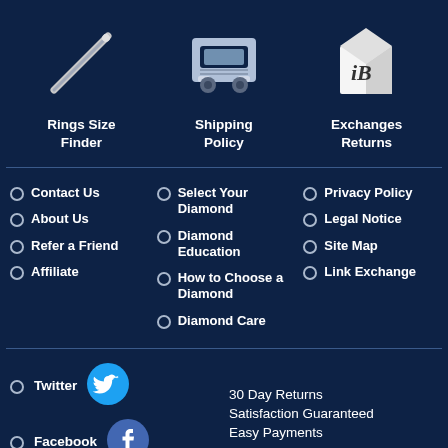[Figure (illustration): Ring sizer tool icon (diagonal rod/stick)]
[Figure (illustration): Truck/shipping icon (front view of delivery truck)]
[Figure (illustration): iB branded box icon (white box with iB script logo)]
Rings Size Finder
Shipping Policy
Exchanges Returns
Contact Us
About Us
Refer a Friend
Affiliate
Select Your Diamond
Diamond Education
How to Choose a Diamond
Diamond Care
Privacy Policy
Legal Notice
Site Map
Link Exchange
Twitter
[Figure (illustration): Twitter bird icon (cyan circle with white bird)]
Facebook
[Figure (illustration): Facebook icon (blue circle with white f)]
30 Day Returns
Satisfaction Guaranteed
Easy Payments